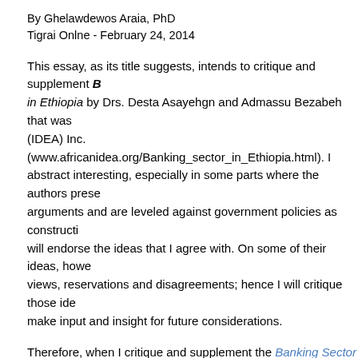By Ghelawdewos Araia, PhD
Tigrai Onlne - February 24, 2014
This essay, as its title suggests, intends to critique and supplement B... in Ethiopia by Drs. Desta Asayehgn and Admassu Bezabeh that was (IDEA) Inc. (www.africanidea.org/Banking_sector_in_Ethiopia.html). I abstract interesting, especially in some parts where the authors prese arguments and are leveled against government policies as constructi will endorse the ideas that I agree with. On some of their ideas, howe views, reservations and disagreements; hence I will critique those ide make input and insight for future considerations.
Therefore, when I critique and supplement the Banking Sector Refor anticipation of embracing a larger perspective that links the context o economy in general and the financial institutions in particular. Broade turn, enable us reflect on the scope and magnitude on domestic Ethio overall performance and how they are impacted by the entry of fore.
This paper, thus, goes beyond critiquing and supplementing to sugge major problem that encounters (at times bewitches) the Ethiopian eco are solved when we devote a great deal of attention in a creative way I found Drs. Desta and Admassu's Abstract not simply as incidental c